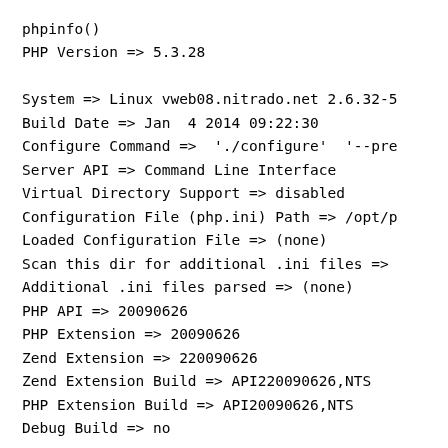phpinfo()
PHP Version => 5.3.28

System => Linux vweb08.nitrado.net 2.6.32-5
Build Date => Jan  4 2014 09:22:30
Configure Command =>  './configure'  '--pre
Server API => Command Line Interface
Virtual Directory Support => disabled
Configuration File (php.ini) Path => /opt/p
Loaded Configuration File => (none)
Scan this dir for additional .ini files =>
Additional .ini files parsed => (none)
PHP API => 20090626
PHP Extension => 20090626
Zend Extension => 220090626
Zend Extension Build => API220090626,NTS
PHP Extension Build => API20090626,NTS
Debug Build => no